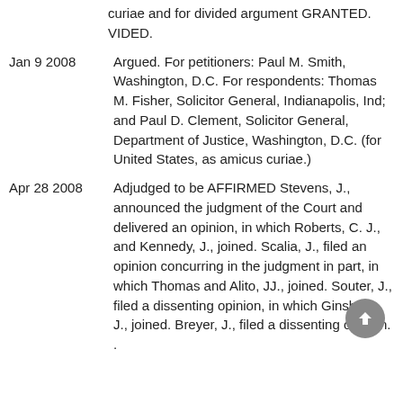curiae and for divided argument GRANTED. VIDED.
Jan 9 2008 — Argued. For petitioners: Paul M. Smith, Washington, D.C. For respondents: Thomas M. Fisher, Solicitor General, Indianapolis, Ind; and Paul D. Clement, Solicitor General, Department of Justice, Washington, D.C. (for United States, as amicus curiae.)
Apr 28 2008 — Adjudged to be AFFIRMED Stevens, J., announced the judgment of the Court and delivered an opinion, in which Roberts, C. J., and Kennedy, J., joined. Scalia, J., filed an opinion concurring in the judgment in part, in which Thomas and Alito, JJ., joined. Souter, J., filed a dissenting opinion, in which Ginsburg, J., joined. Breyer, J., filed a dissenting opinion. .